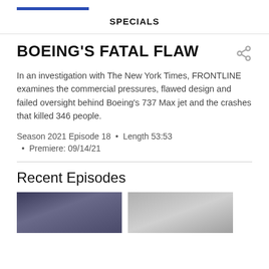SPECIALS
BOEING'S FATAL FLAW
In an investigation with The New York Times, FRONTLINE examines the commercial pressures, flawed design and failed oversight behind Boeing's 737 Max jet and the crashes that killed 346 people.
Season 2021 Episode 18  •  Length 53:53
Premiere: 09/14/21
Recent Episodes
[Figure (photo): Thumbnail image of crowd scene, dark tones]
[Figure (photo): Thumbnail image of outdoor winter scene, light tones]